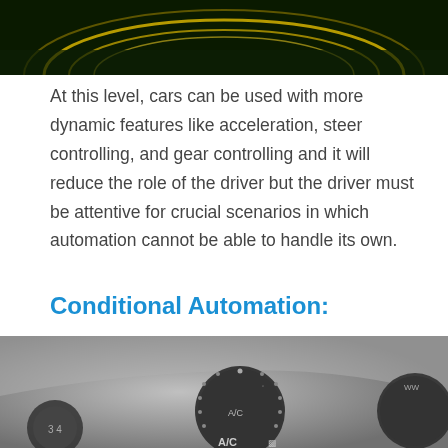[Figure (photo): Top portion of a car instrument cluster or speedometer with glowing yellow/green circular light streaks on a dark background]
At this level, cars can be used with more dynamic features like acceleration, steer controlling, and gear controlling and it will reduce the role of the driver but the driver must be attentive for crucial scenarios in which automation cannot be able to handle its own.
Conditional Automation:
[Figure (photo): Close-up black and white photograph of a car dashboard showing climate control knobs/dials including an A/C button and ventilation controls]